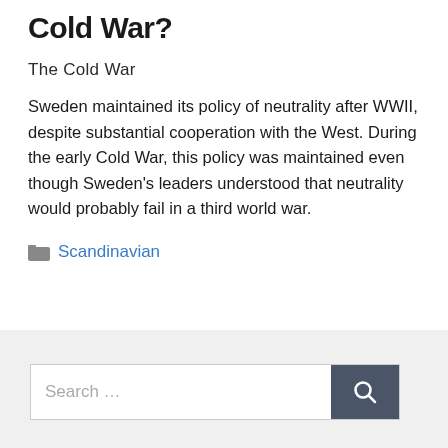Cold War?
The Cold War
Sweden maintained its policy of neutrality after WWII, despite substantial cooperation with the West. During the early Cold War, this policy was maintained even though Sweden's leaders understood that neutrality would probably fail in a third world war.
Scandinavian
Search …